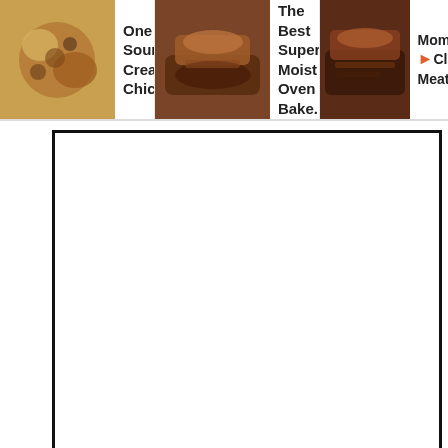[Figure (screenshot): Website screenshot showing a food blog page. Top navigation strip with three recipe cards: 'One Pan Sour Cream Chicken...', 'The Best Super Moist Oven Bake...', 'Mom's Classic Meatloaf...' each with a food photo. Below is a white ad/content box with thick black border. Below that is a black Instagram call-to-action section with Instagram logo icon, text 'ARE WE FRIENDS ON INSTAGRAM?', 'Tag me @heatherlikesfood and use #heatherlikesfood so I can see what you're making and enjoying!' Floating buttons on the right: scroll-up, heart/save, and red search button.]